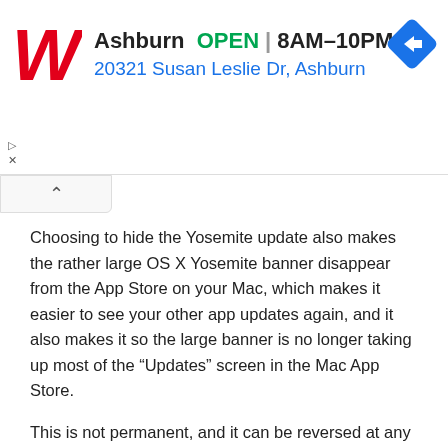[Figure (advertisement): Walgreens ad banner showing Ashburn location, OPEN 8AM-10PM, address 20321 Susan Leslie Dr, Ashburn, with red Walgreens cursive W logo and blue diamond directions icon]
Choosing to hide the Yosemite update also makes the rather large OS X Yosemite banner disappear from the App Store on your Mac, which makes it easier to see your other app updates again, and it also makes it so the large banner is no longer taking up most of the “Updates” screen in the Mac App Store.
This is not permanent, and it can be reversed at any time if you change your mind.
Hiding the OS X Yosemite update installer from the Mac App Store is really easy